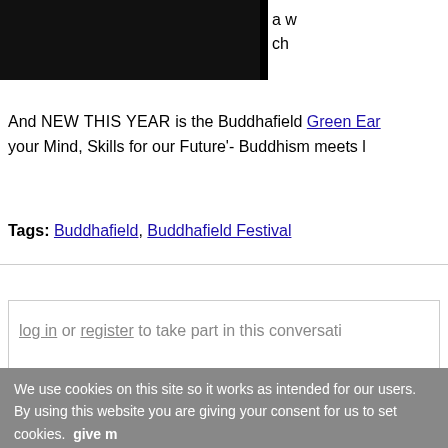[Figure (photo): Dark/black image at top left, partially visible photo of people. To the right is white space with partial text 'a w...' and 'ch...']
And NEW THIS YEAR is the Buddhafield Green Ear[th]... your Mind, Skills for our Future'- Buddhism meets [l]...
Tags: Buddhafield, Buddhafield Festival
log in or register to take part in this conversati[on]
We use cookies on this site so it works as intended for our users. By using this website you are giving your consent for us to set cookies. give m[ore info]